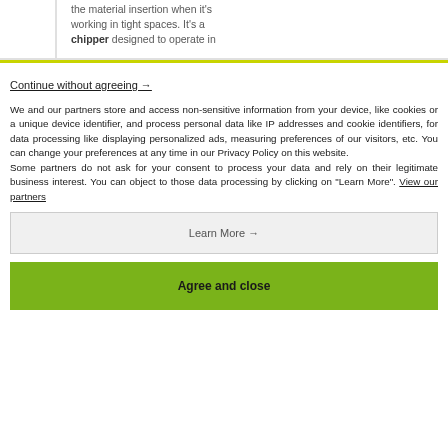the material insertion when it's working in tight spaces. It's a chipper designed to operate in the...
Continue without agreeing →
We and our partners store and access non-sensitive information from your device, like cookies or a unique device identifier, and process personal data like IP addresses and cookie identifiers, for data processing like displaying personalized ads, measuring preferences of our visitors, etc. You can change your preferences at any time in our Privacy Policy on this website.
Some partners do not ask for your consent to process your data and rely on their legitimate business interest. You can object to those data processing by clicking on "Learn More". View our partners
Learn More →
Agree and close